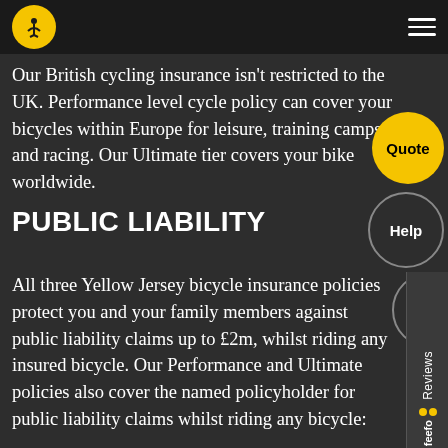WORLDWIDE COVER
Our British cycling insurance isn't restricted to the UK. Performance level cycle policy can cover your bicycles within Europe for leisure, training camps and racing. Our Ultimate tier covers your bike worldwide.
PUBLIC LIABILITY
All three Yellow Jersey bicycle insurance policies protect you and your family members against public liability claims up to £2m, whilst riding any insured bicycle. Our Performance and Ultimate policies also cover the named policyholder for public liability claims whilst riding any bicycle: